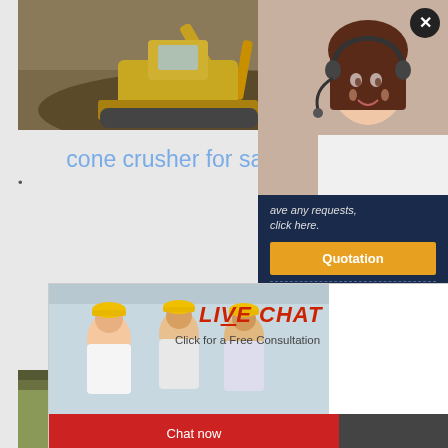[Figure (photo): Excavator/construction equipment digging in dirt/earth, top portion of page]
cone crusher for sale short head - park-rousinov.cz
Used Cone Crusher Short Head Cone for sale. Min Symons ... appointed ... Cone Crusher
[Figure (photo): Live chat popup overlay showing workers in hard hats and customer service agent with headset, with LIVE CHAT heading and Chat now / Chat later buttons]
[Figure (photo): Industrial machinery / cone crusher equipment in a factory setting]
[Figure (photo): Customer service representative with headset on navy blue side panel]
ave any requests, click here.
Quotation
Enquiry
limingjlmofen@sina.com